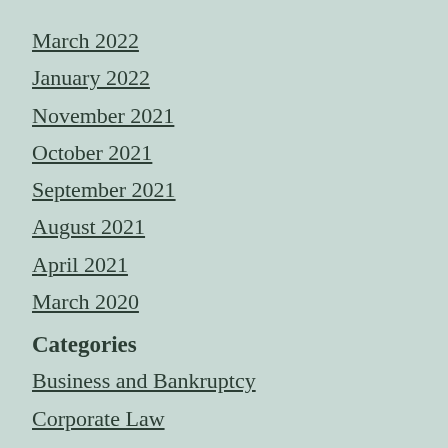March 2022
January 2022
November 2021
October 2021
September 2021
August 2021
April 2021
March 2020
Categories
Business and Bankruptcy
Corporate Law
Family Law